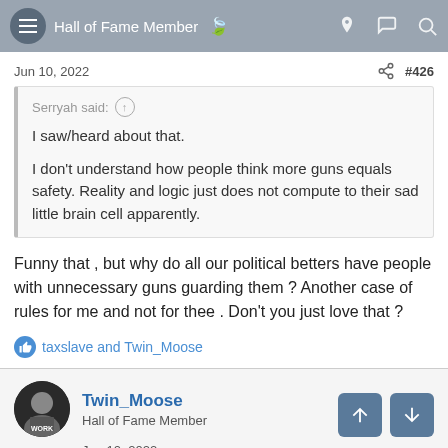Hall of Fame Member
Jun 10, 2022  #426
Serryah said:
I saw/heard about that.

I don't understand how people think more guns equals safety. Reality and logic just does not compute to their sad little brain cell apparently.
Funny that , but why do all our political betters have people with unnecessary guns guarding them ? Another case of rules for me and not for thee . Don't you just love that ?
taxslave and Twin_Moose
Twin_Moose
Hall of Fame Member
Jun 10, 2022